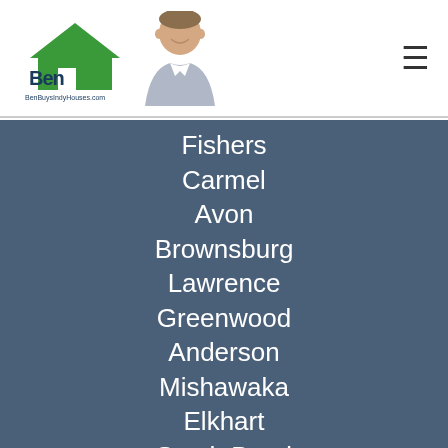[Figure (logo): BenBuysIndyHouses.com logo with green house icon and Ben text, alongside a photo of a smiling man]
Fishers
Carmel
Avon
Brownsburg
Lawrence
Greenwood
Anderson
Mishawaka
Elkhart
South Bend